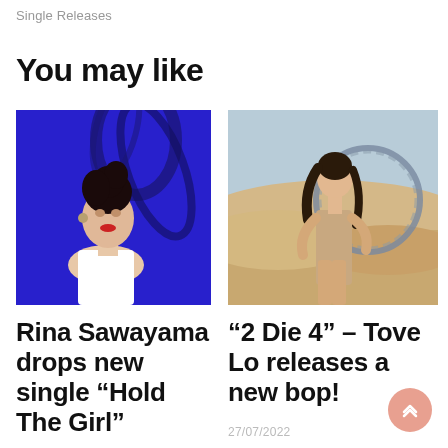Single Releases
You may like
[Figure (photo): Portrait of Rina Sawayama against a deep blue background with dark floral/butterfly motifs, wearing a white top]
[Figure (photo): Woman in desert landscape wearing a beige outfit, with a chain-like circular element behind her]
Rina Sawayama drops new single “Hold The Girl”
“2 Die 4” – Tove Lo releases a new bop!
27/07/2022